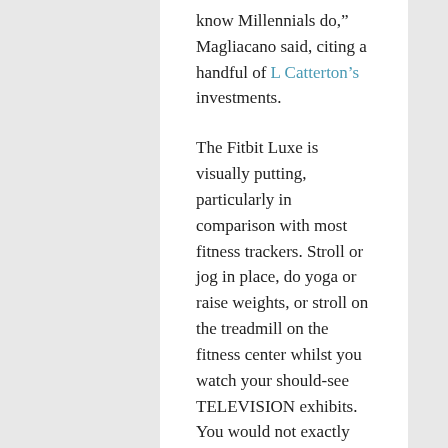know Millennials do,” Magliacano said, citing a handful of L Catterton’s investments.
The Fitbit Luxe is visually putting, particularly in comparison with most fitness trackers. Stroll or jog in place, do yoga or raise weights, or stroll on the treadmill on the fitness center whilst you watch your should-see TELEVISION exhibits. You would not exactly mistake it for a bit of knickknack when paired with its default band, nevertheless it definitely wouldn’t look misplaced on your wrist at a formal feast either. Retrain your interior sofa potato.
To check out more info about click through the up coming website have a look at our own web-page.
gym fitness motivation music
Written by